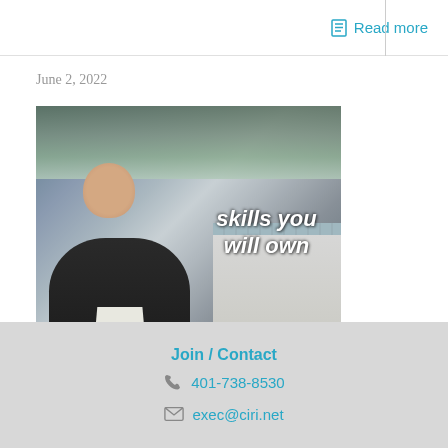Read more
June 2, 2022
[Figure (photo): A man in a dark jacket speaking outdoors in front of a building, with bold italic white text overlay reading 'skills you will own']
Join / Contact
401-738-8530
exec@ciri.net